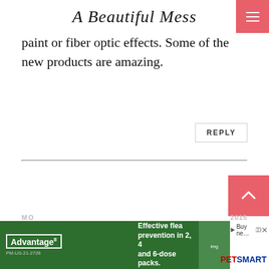A Beautiful Mess
paint or fiber optic effects. Some of the new products are amazing.
REPLY
[Figure (screenshot): Pink/red hamburger menu button in top right corner]
[Figure (screenshot): Pink scroll-to-top arrow button on the right side]
[Figure (screenshot): Advertisement banner: Advantage II flea prevention and PetSmart ad]
MO... 2015